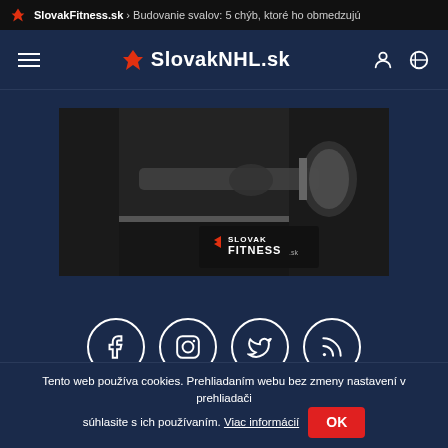SlovakFitness.sk › Budovanie svalov: 5 chýb, ktoré ho obmedzujú
☰ SlovakNHL.sk 👤 🔍
[Figure (photo): Advertisement image for SlovakFitness.sk showing a person lifting a barbell with weight plate, black and white photo with Slovak Fitness logo overlay]
[Figure (infographic): Social media icons row: Facebook, Instagram, Twitter, RSS feed — white icons in circular borders on dark blue background]
[Figure (logo): Strotter brand logo in italic serif white text]
Tento web používa cookies. Prehliadaním webu bez zmeny nastavení v prehliadači súhlasite s ich používaním. Viac informácií OK